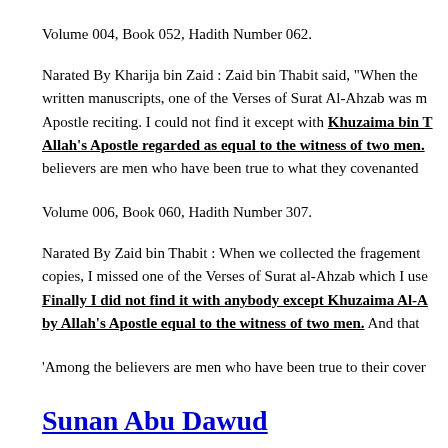Volume 004, Book 052, Hadith Number 062.
Narated By Kharija bin Zaid : Zaid bin Thabit said, "When the written manuscripts, one of the Verses of Surat Al-Ahzab was m... Apostle reciting. I could not find it except with Khuzaima bin T... Allah's Apostle regarded as equal to the witness of two men. believers are men who have been true to what they covenanted ...
Volume 006, Book 060, Hadith Number 307.
Narated By Zaid bin Thabit : When we collected the fragrement... copies, I missed one of the Verses of Surat al-Ahzab which I use... Finally I did not find it with anybody except Khuzaima Al-A... by Allah's Apostle equal to the witness of two men. And that ...
'Among the believers are men who have been true to their cover...
Sunan Abu Dawud